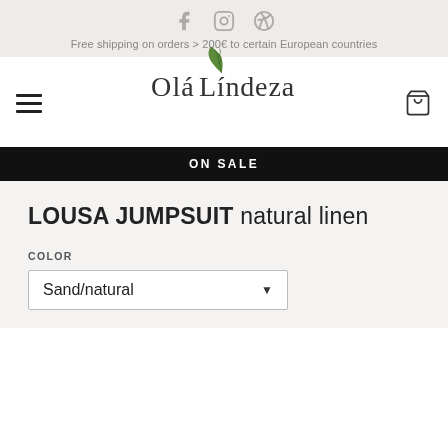Social icons: Facebook, Instagram, Pinterest
Free shipping on orders > 200€ to certain European countries
[Figure (logo): Olá Lindeza logo with green leaf illustration and hamburger menu and cart icon]
ON SALE
LOUSA JUMPSUIT natural linen
COLOR
Sand/natural